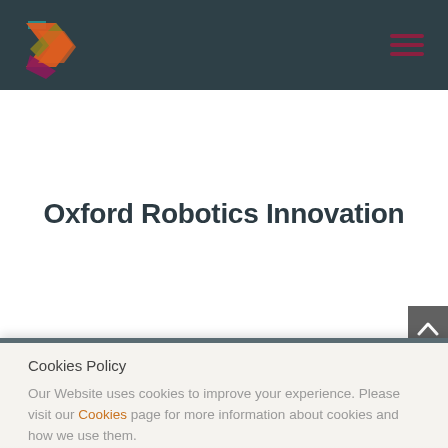[Figure (logo): Oxford Robotics Innovation colorful angular logo mark made of overlapping geometric shapes in orange, teal, olive, purple, and magenta]
[Figure (other): Hamburger menu icon with three dark red horizontal bars on dark teal background]
Oxford Robotics Innovation
[Figure (other): Grey back-to-top button with upward pointing chevron arrow]
Cookies Policy
Our Website uses cookies to improve your experience. Please visit our Cookies page for more information about cookies and how we use them.